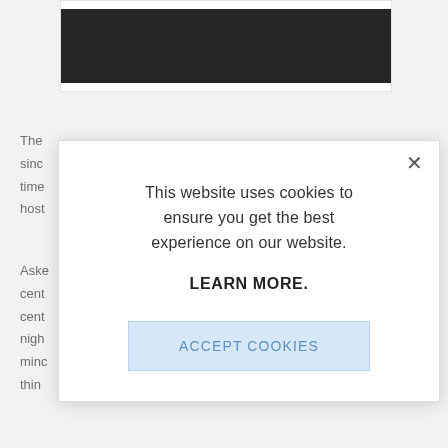[Figure (screenshot): Black rectangle image at the top of the page, partially visible]
The
sinc
time
host
Aske
cent
cent
nigh
minc
thin
This website uses cookies to ensure you get the best experience on our website.

LEARN MORE.

ACCEPT COOKIES